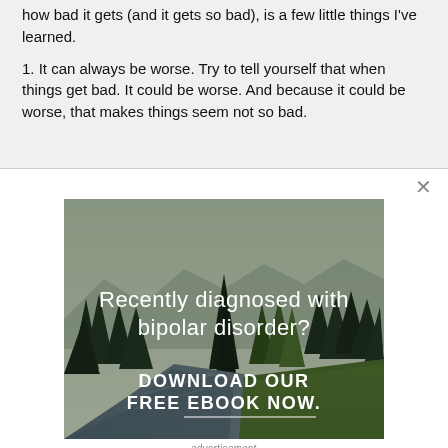how bad it gets (and it gets so bad), is a few little things I've learned.
1. It can always be worse. Try to tell yourself that when things get bad. It could be worse. And because it could be worse, that makes things seem not so bad.
[Figure (illustration): Forest/mountain landscape advertisement for bipolar disorder ebook with text overlay: 'Recently diagnosed with bipolar disorder? DOWNLOAD OUR FREE EBOOK NOW.']
advertisement